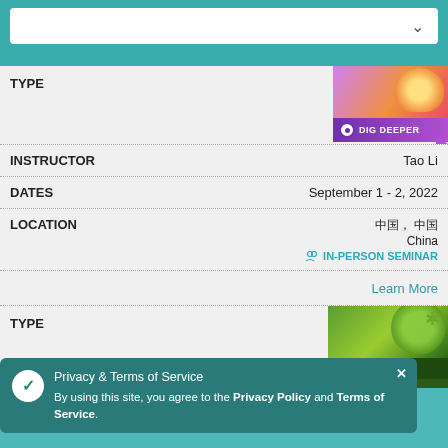TYPE
[Figure (illustration): Dig Deeper badge with colorful brain/light graphic and purple banner reading DIG DEEPER]
INSTRUCTOR	Tao Li
DATES	September 1 - 2, 2022
LOCATION	中国, 中国
China
IN-PERSON SEMINAR
Learn More
TYPE
[Figure (illustration): Disease & Disorder badge with dark green banner and virus/cell graphic]
Privacy & Terms of Service
By using this site, you agree to the Privacy Policy and Terms of Service.
INSTRUCTOR
DATES	September 1 - 10, 2022